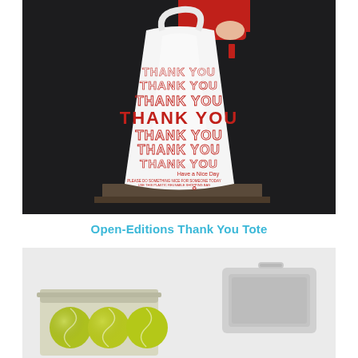[Figure (photo): A person in a red long-sleeve top holds up a white plastic thank-you tote bag by its handles against a dark background. The bag has 'THANK YOU' printed multiple times in red text of varying sizes, with 'Have a Nice Day' text and a recycling symbol at the bottom.]
Open-Editions Thank You Tote
[Figure (photo): A light grey background showing two items: on the left, an open tin/container filled with yellow-green tennis balls; on the right, a simple white/grey rectangular object that appears to be a tray or container.]